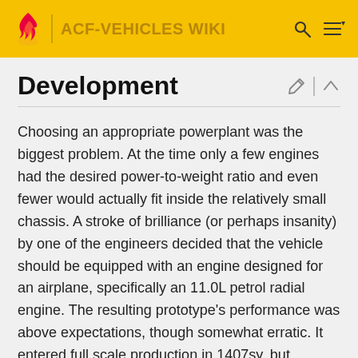ACF-VEHICLES WIKI
Development
Choosing an appropriate powerplant was the biggest problem. At the time only a few engines had the desired power-to-weight ratio and even fewer would actually fit inside the relatively small chassis. A stroke of brilliance (or perhaps insanity) by one of the engineers decided that the vehicle should be equipped with an engine designed for an airplane, specifically an 11.0L petrol radial engine. The resulting prototype's performance was above expectations, though somewhat erratic. It entered full scale production in 1407sy, but because of the high cost of the new engine fewer of the ZM.L-2 chassis were produced than originally planned. By 1411, 110 ZM.L-2's